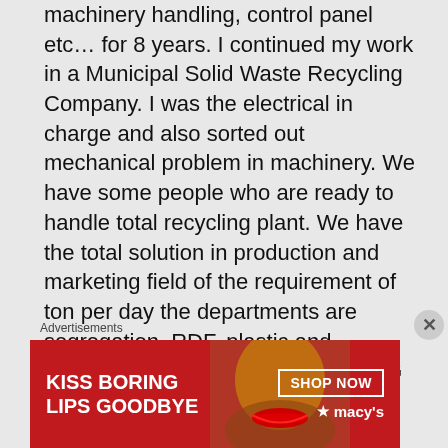machinery handling, control panel etc... for 8 years. I continued my work in a Municipal Solid Waste Recycling Company. I was the electrical in charge and also sorted out mechanical problem in machinery. We have some people who are ready to handle total recycling plant. We have the total solution in production and marketing field of the requirement of ton per day the departments are segregation, RDF, plastic and compost we can also produce C N G gas and electricity. Please contact with the number 00919173341345
Advertisements
[Figure (photo): Advertisement banner for Macy's lipstick - red background with woman's face showing red lipstick, text 'KISS BORING LIPS GOODBYE' and 'SHOP NOW' button with Macy's star logo]